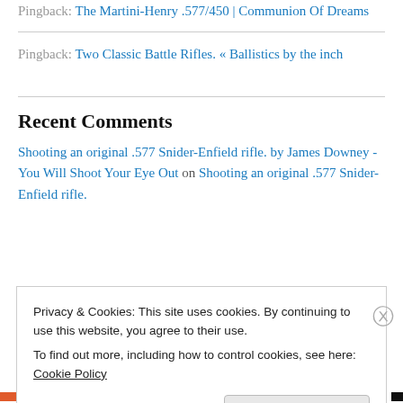Pingback: The Martini-Henry .577/450 | Communion Of Dreams
Pingback: Two Classic Battle Rifles. « Ballistics by the inch
Recent Comments
Shooting an original .577 Snider-Enfield rifle. by James Downey - You Will Shoot Your Eye Out on Shooting an original .577 Snider-Enfield rifle.
Privacy & Cookies: This site uses cookies. By continuing to use this website, you agree to their use. To find out more, including how to control cookies, see here: Cookie Policy
Close and accept